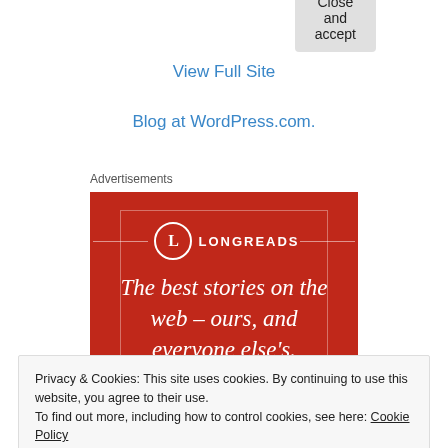View Full Site
Blog at WordPress.com.
Advertisements
[Figure (illustration): Longreads advertisement banner on red background. Shows the Longreads logo (circle with L) and tagline: The best stories on the web – ours, and everyone else's.]
Privacy & Cookies: This site uses cookies. By continuing to use this website, you agree to their use.
To find out more, including how to control cookies, see here: Cookie Policy
Close and accept